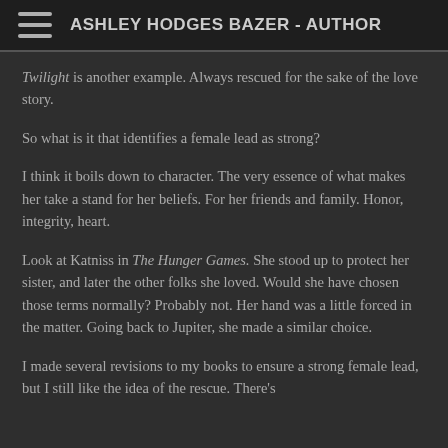ASHLEY HODGES BAZER - AUTHOR
Twilight is another example. Always rescued for the sake of the love story.
So what is it that identifies a female lead as strong?
I think it boils down to character. The very essence of what makes her take a stand for her beliefs. For her friends and family. Honor, integrity, heart.
Look at Katniss in The Hunger Games. She stood up to protect her sister, and later the other folks she loved. Would she have chosen those terms normally? Probably not. Her hand was a little forced in the matter. Going back to Jupiter, she made a similar choice.
I made several revisions to my books to ensure a strong female lead, but I still like the idea of the rescue. There's